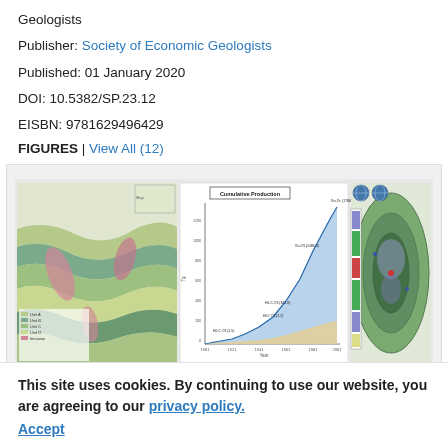Geologists
Publisher: Society of Economic Geologists
Published: 01 January 2020
DOI: 10.5382/SP.23.12
EISBN: 9781629496429
FIGURES | View All (12)
[Figure (illustration): Three scientific figures: a geological map with colorful stratigraphy on the left, a cumulative production area chart in the center, and a geological cross-section/map on the right.]
This site uses cookies. By continuing to use our website, you are agreeing to our privacy policy. Accept